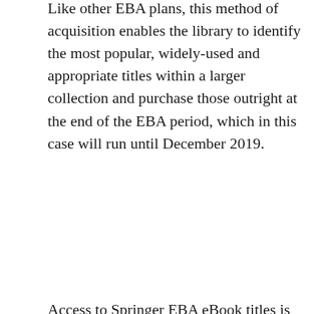Like other EBA plans, this method of acquisition enables the library to identify the most popular, widely-used and appropriate titles within a larger collection and purchase those outright at the end of the EBA period, which in this case will run until December 2019.
Access to Springer EBA eBook titles is direct on-campus (although you may occasionally encounter a Single Sign On challenge) and by university username and password from off-campus. Records in Library OneSearch and Library OneSearch Pro have been configured to provide deep-linked title-level authenticated access.
eBooks in the Springer EBA package include the following collections and subject areas: